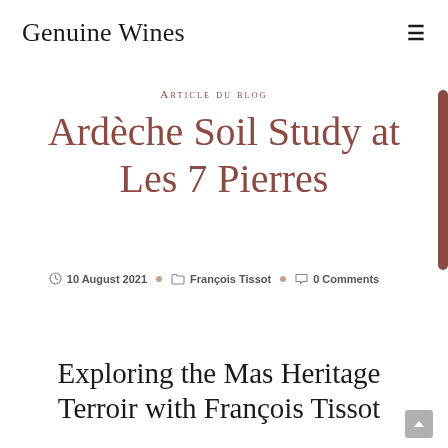Genuine Wines
Article du blog
Ardèche Soil Study at Les 7 Pierres
10 August 2021 • François Tissot • 0 Comments
Exploring the Mas Heritage Terroir with François Tissot